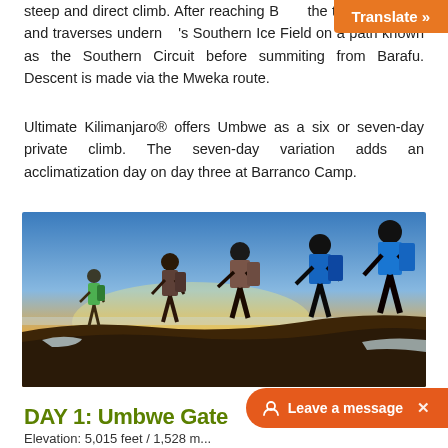steep and direct climb. After reaching B... the trail turns east and traverses underneath the Southern Ice Field on a path known as the Southern Circuit before summitting from Barafu. Descent is made via the Mweka route.
Ultimate Kilimanjaro® offers Umbwe as a six or seven-day private climb. The seven-day variation adds an acclimatization day on day three at Barranco Camp.
[Figure (photo): Group of hikers with backpacks trekking on a volcanic mountain trail at sunrise/golden hour with blue sky and warm orange glow on the horizon]
DAY 1: Umbwe Gate
Elevation: 5,015 feet / 1,528 m...